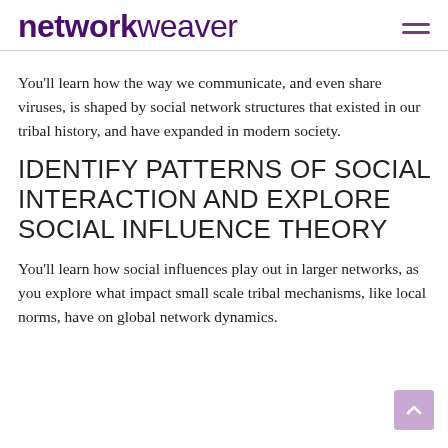networkweaver
You'll learn how the way we communicate, and even share viruses, is shaped by social network structures that existed in our tribal history, and have expanded in modern society.
IDENTIFY PATTERNS OF SOCIAL INTERACTION AND EXPLORE SOCIAL INFLUENCE THEORY
You'll learn how social influences play out in larger networks, as you explore what impact small scale tribal mechanisms, like local norms, have on global network dynamics.